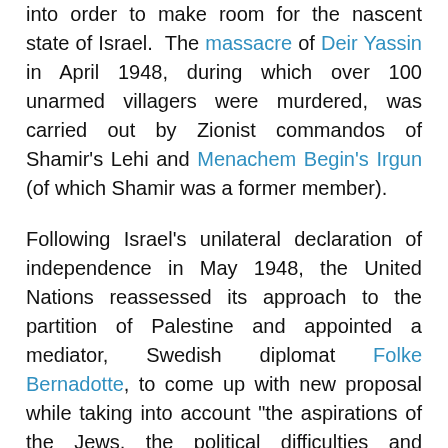into order to make room for the nascent state of Israel. The massacre of Deir Yassin in April 1948, during which over 100 unarmed villagers were murdered, was carried out by Zionist commandos of Shamir's Lehi and Menachem Begin's Irgun (of which Shamir was a former member).
Following Israel's unilateral declaration of independence in May 1948, the United Nations reassessed its approach to the partition of Palestine and appointed a mediator, Swedish diplomat Folke Bernadotte, to come up with new proposal while taking into account "the aspirations of the Jews, the political difficulties and differences of opinion of the Arab leaders, the strategic interests of Great Britain, the financial commitment of the United States and the Soviet Union, the outcome of the war, and finally the authority and prestige of the United Nations." Notice that the rights of the indigenous Palestinians were not included in this mandate.
Nevertheless, while Bernadotte's second proposal was produced in consultation with British and American emissaries, then-President Harry Truman undermined its progress in the UN due to pre-election Zionist influence in